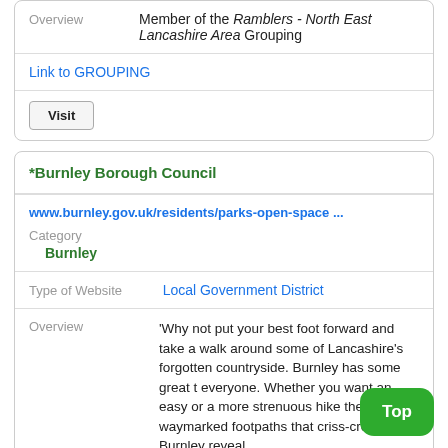|  |  |
| --- | --- |
| Overview | Member of the Ramblers - North East Lancashire Area Grouping |
|  | Link to GROUPING |
|  | Visit |
*Burnley Borough Council
|  |  |
| --- | --- |
|  | www.burnley.gov.uk/residents/parks-open-space ... |
| Category | Burnley |
| Type of Website | Local Government District |
| Overview | 'Why not put your best foot forward and take a walk around some of Lancashire’s forgotten countryside. Burnley has some great t everyone. Whether you want an easy or a more strenuous hike the waymarked footpaths that criss-cross Burnley reveal |
Top